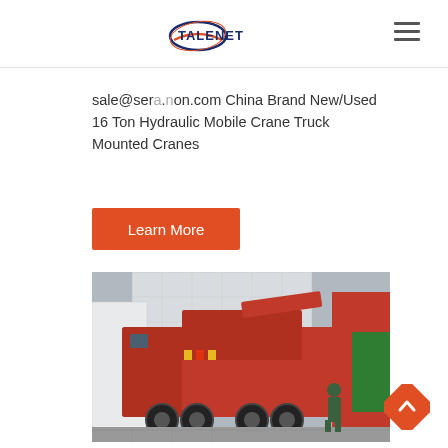TALENET
sale@seramon.com China Brand New/Used 16 Ton Hydraulic Mobile Crane Truck Mounted Cranes
Learn More
[Figure (photo): Red truck-mounted crane vehicle photographed from rear-side angle in an outdoor industrial/facility area. A person in green vest stands nearby. Additional red and green trucks visible in background.]
[Figure (other): Orange diamond-shaped back-to-top button with white upward arrow chevron]